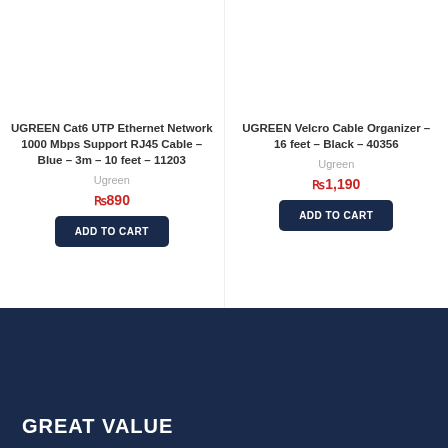UGREEN Cat6 UTP Ethernet Network 1000 Mbps Support RJ45 Cable – Blue – 3m – 10 feet – 11203
Ugreen
₨890
ADD TO CART
UGREEN Velcro Cable Organizer – 16 feet – Black – 40356
Ugreen
₨1,190
ADD TO CART
GREAT VALUE